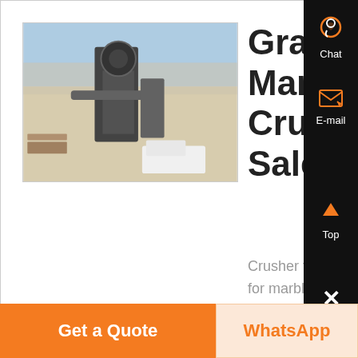[Figure (photo): Outdoor photo of a granite/marble crusher industrial facility with machinery and dust]
Granite Marble Crusher Sale
Crusher for sale at SBM for marble Jaw crusher is sort of marble Crusher which can be the key marble
Chat
E-mail
Top
Get a Quote
WhatsApp